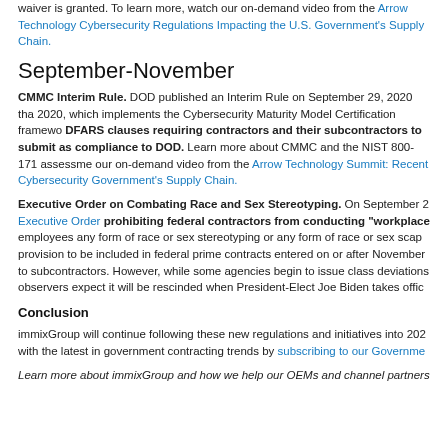waiver is granted. To learn more, watch our on-demand video from the Arrow Technology Cybersecurity Regulations Impacting the U.S. Government's Supply Chain.
September-November
CMMC Interim Rule. DOD published an Interim Rule on September 29, 2020 that 2020, which implements the Cybersecurity Maturity Model Certification framework. DFARS clauses requiring contractors and their subcontractors to submit as compliance to DOD. Learn more about CMMC and the NIST 800-171 assessment our on-demand video from the Arrow Technology Summit: Recent Cybersecurity Government's Supply Chain.
Executive Order on Combating Race and Sex Stereotyping. On September 2, Executive Order prohibiting federal contractors from conducting "workplace" employees any form of race or sex stereotyping or any form of race or sex scapegoating provision to be included in federal prime contracts entered on or after November to subcontractors. However, while some agencies begin to issue class deviations, observers expect it will be rescinded when President-Elect Joe Biden takes office.
Conclusion
immixGroup will continue following these new regulations and initiatives into 202. with the latest in government contracting trends by subscribing to our Government
Learn more about immixGroup and how we help our OEMs and channel partners